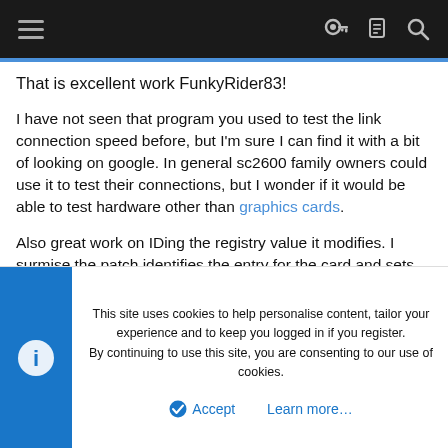Navigation bar with hamburger menu and icons
That is excellent work FunkyRider83!
I have not seen that program you used to test the link connection speed before, but I'm sure I can find it with a bit of looking on google. In general sc2600 family owners could use it to test their connections, but I wonder if it would be able to test hardware other than graphics cards.
Also great work on IDing the registry value it modifies. I surmise the patch identifies the entry for the card and sets its PCIe link value appropriately in the registry, which is then actually used. I would believe it possible to set the link speed in the registry by hand for other, newer cards, if needed and if
This site uses cookies to help personalise content, tailor your experience and to keep you logged in if you register.
By continuing to use this site, you are consenting to our use of cookies.
Accept
Learn more...